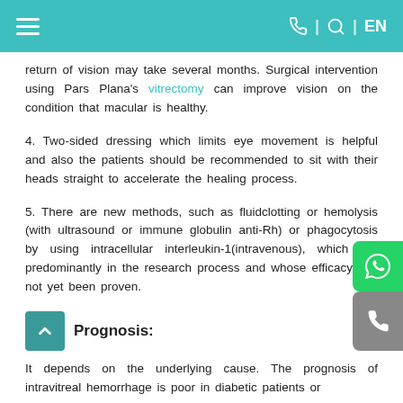≡  ☎ | 🔍 | EN
return of vision may take several months. Surgical intervention using Pars Plana's vitrectomy can improve vision on the condition that macular is healthy.
4. Two-sided dressing which limits eye movement is helpful and also the patients should be recommended to sit with their heads straight to accelerate the healing process.
5. There are new methods, such as fluidclotting or hemolysis (with ultrasound or immune globulin anti-Rh) or phagocytosis by using intracellular interleukin-1(intravenous), which are predominantly in the research process and whose efficacy has not yet been proven.
Prognosis:
It depends on the underlying cause. The prognosis of intravitreal hemorrhage is poor in diabetic patients or